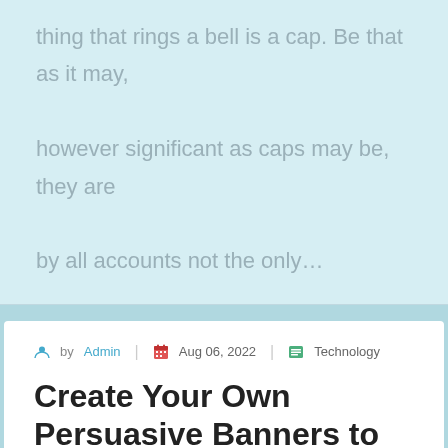thing that rings a bell is a cap. Be that as it may, however significant as caps may be, they are by all accounts not the only…
by Admin | Aug 06, 2022 | Technology
Create Your Own Persuasive Banners to Improve PowerPoint
A delightful composition expresses thousand of words. It tends to be rousing when